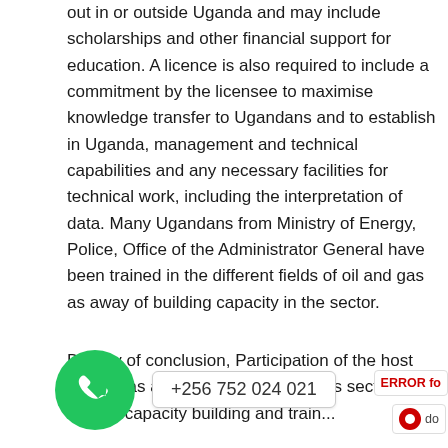out in or outside Uganda and may include scholarships and other financial support for education. A licence is also required to include a commitment by the licensee to maximise knowledge transfer to Ugandans and to establish in Uganda, management and technical capabilities and any necessary facilities for technical work, including the interpretation of data. Many Ugandans from Ministry of Energy, Police, Office of the Administrator General have been trained in the different fields of oil and gas as away of building capacity in the sector.
By way of conclusion, Participation of the host country as a whole in the oil and gas sector will require capacity building and training